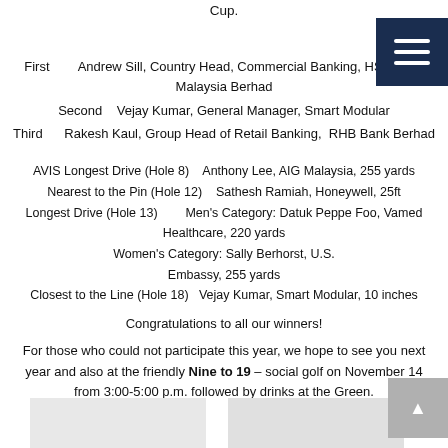Cup.
First    Andrew Sill, Country Head, Commercial Banking, HSBC Bank Malaysia Berhad
Second    Vejay Kumar, General Manager, Smart Modular
Third    Rakesh Kaul, Group Head of Retail Banking,  RHB Bank Berhad
AVIS Longest Drive (Hole 8)    Anthony Lee, AIG Malaysia, 255 yards
Nearest to the Pin (Hole 12)    Sathesh Ramiah, Honeywell, 25ft
Longest Drive (Hole 13)    Men's Category: Datuk Peppe Foo, Vamed Healthcare, 220 yards
Women's Category: Sally Berhorst, U.S. Embassy, 255 yards
Closest to the Line (Hole 18)    Vejay Kumar, Smart Modular, 10 inches
Congratulations to all our winners!
For those who could not participate this year, we hope to see you next year and also at the friendly Nine to 19 – social golf on November 14 from 3:00-5:00 p.m. followed by drinks at the Green.
[Figure (photo): Two photo placeholders at the bottom of the page]